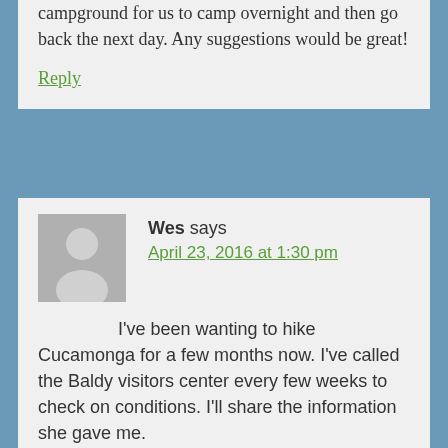campground for us to camp overnight and then go back the next day. Any suggestions would be great!
Reply
Wes says
April 23, 2016 at 1:30 pm
I've been wanting to hike Cucamonga for a few months now. I've called the Baldy visitors center every few weeks to check on conditions. I'll share the information she gave me.
As of today 4/23/16 they told me there is still a considerable amount of snow and ice. They stressed having crampons and and ice ax (and the skills to use them) with you if you attempt